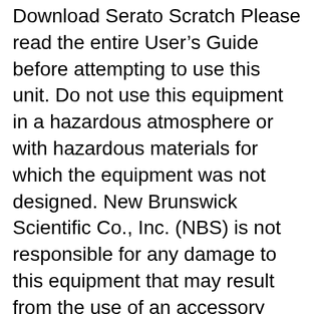Download Serato Scratch Please read the entire User's Guide before attempting to use this unit. Do not use this equipment in a hazardous atmosphere or with hazardous materials for which the equipment was not designed. New Brunswick Scientific Co., Inc. (NBS) is not responsible for any damage to this equipment that may result from the use of an accessory
Shop Edison Professional iRocker XS-3000 Bluetooth Wireless Speaker Black at Best Buy. Find low everyday prices and buy online for delivery or in-store pick-up. Price Match Guarantee. ManualMan provides high quality amateur radio,audio,test equipment